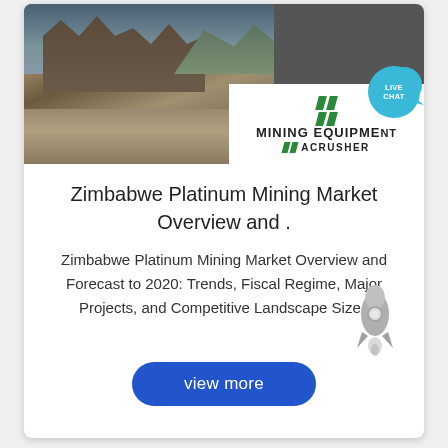[Figure (photo): Mining site with industrial equipment, conveyors, and machinery against a mountain backdrop. Right side shows Mining Equipment / ACrusher logo on white background. A 'LIVE CHAT' bubble appears top right.]
Zimbabwe Platinum Mining Market Overview and .
Zimbabwe Platinum Mining Market Overview and Forecast to 2020: Trends, Fiscal Regime, Major Projects, and Competitive Landscape Size .
[Figure (illustration): Rocket/launch icon in grey, bottom right of content area]
view more